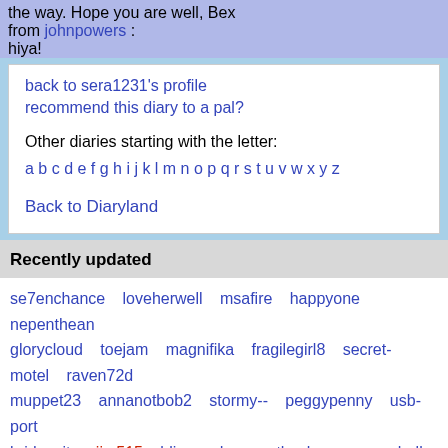the way. Hope you are well, Bex
from johnpowers :
hiya!
back to sera1231's profile
recommend this diary to a pal?

Other diaries starting with the letter:
a b c d e f g h i j k l m n o p q r s t u v w x y z

Back to Diaryland
Recently updated
se7enchance loveherwell msafire happyone nepenthean glorycloud toejam magnifika fragilegirl8 secret-motel raven72d muppet23 annanotbob2 stormy-- peggypenny usb-port bridgecity jim515 bliss-sad papotheclown sexychelle